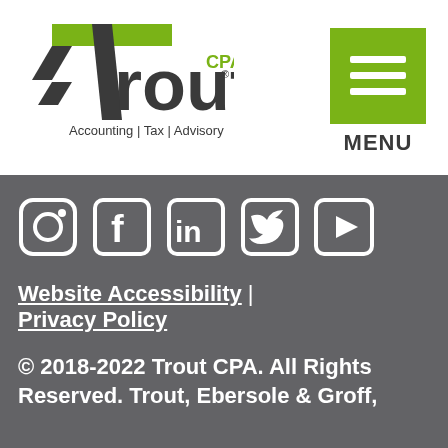[Figure (logo): Trout CPA logo with green T graphic and text 'Accounting | Tax | Advisory']
[Figure (other): Green menu button with three white lines and MENU label below]
[Figure (other): Social media icons: Instagram, Facebook, LinkedIn, Twitter, YouTube on dark grey background]
Website Accessibility  |  Privacy Policy
© 2018-2022 Trout CPA. All Rights Reserved. Trout, Ebersole & Groff,